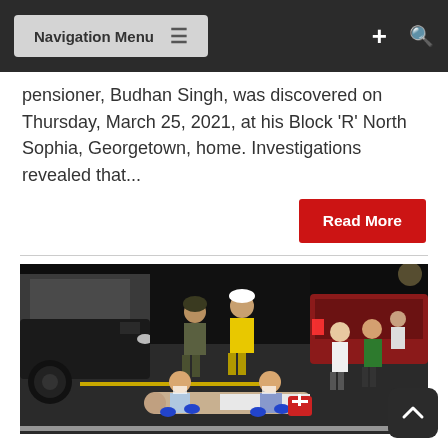Navigation Menu
pensioner, Budhan Singh, was discovered on Thursday, March 25, 2021, at his Block 'R' North Sophia, Georgetown, home. Investigations revealed that...
Read More
[Figure (photo): Night-time accident scene on a road: two medical responders in blue gloves attend to a person lying on the ground. Bystanders watch, vehicles visible including a dark SUV on the left and a red vehicle in the background. A person in a yellow rain jacket stands in the middle background.]
Two injured in separate accidents on Saffon Street
Mar 27, 2021  KNews  News Comments Off